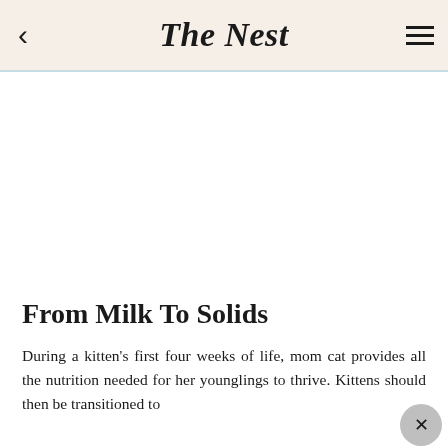The Nest
[Figure (other): Blank white image area placeholder]
From Milk To Solids
During a kitten's first four weeks of life, mom cat provides all the nutrition needed for her younglings to thrive. Kittens should then be transitioned to…